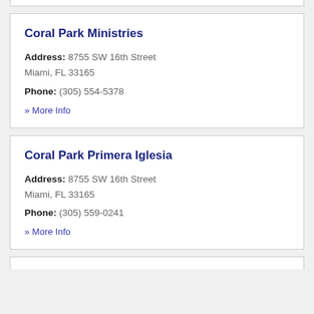Coral Park Ministries — Address: 8755 SW 16th Street Miami, FL 33165 — Phone: (305) 554-5378 — » More Info
Coral Park Primera Iglesia — Address: 8755 SW 16th Street Miami, FL 33165 — Phone: (305) 559-0241 — » More Info